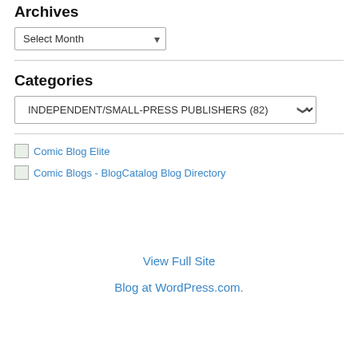Archives
Select Month (dropdown)
Categories
INDEPENDENT/SMALL-PRESS PUBLISHERS  (82) (dropdown)
Comic Blog Elite (broken image link)
Comic Blogs - BlogCatalog Blog Directory (broken image link)
View Full Site
Blog at WordPress.com.